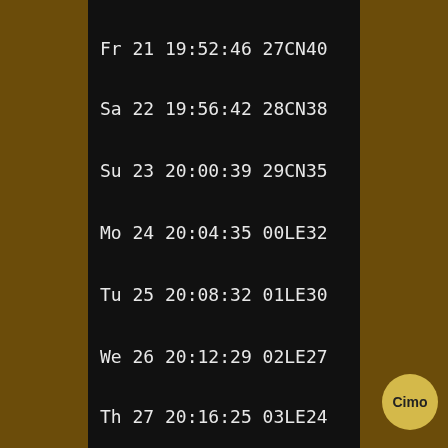Fr 21 19:52:46 27CN40
Sa 22 19:56:42 28CN38
Su 23 20:00:39 29CN35
Mo 24 20:04:35 00LE32
Tu 25 20:08:32 01LE30
We 26 20:12:29 02LE27
Th 27 20:16:25 03LE24